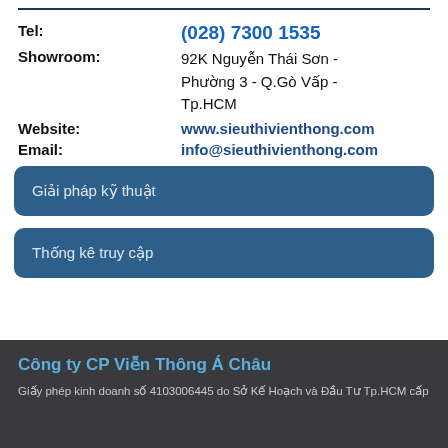Tel: (028) 7300 1535
Showroom: 92K Nguyễn Thái Sơn - Phường 3 - Q.Gò Vấp - Tp.HCM
Website: www.sieuthivienthong.com
Email: info@sieuthivienthong.com
Giải pháp kỹ thuật
Thống kê truy cập
Công ty CP Viễn Thông Á Châu
Giấy phép kinh doanh số 4103006445 do Sở Kế Hoạch và Đầu Tư Tp.HCM cấp